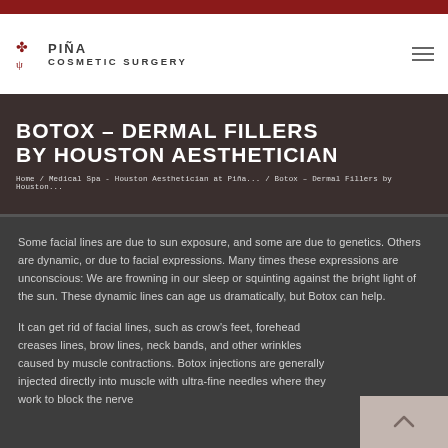[Figure (logo): Piña Cosmetic Surgery logo with decorative icon on left and hamburger menu icon on right]
BOTOX – DERMAL FILLERS BY HOUSTON AESTHETICIAN
Home / Medical Spa - Houston Aesthetician at Piña... / Botox – Dermal Fillers by Houston...
Some facial lines are due to sun exposure, and some are due to genetics. Others are dynamic, or due to facial expressions. Many times these expressions are unconscious: We are frowning in our sleep or squinting against the bright light of the sun. These dynamic lines can age us dramatically, but Botox can help.
It can get rid of facial lines, such as crow's feet, forehead creases lines, brow lines, neck bands, and other wrinkles caused by muscle contractions. Botox injections are generally injected directly into muscle with ultra-fine needles where they work to block the nerve